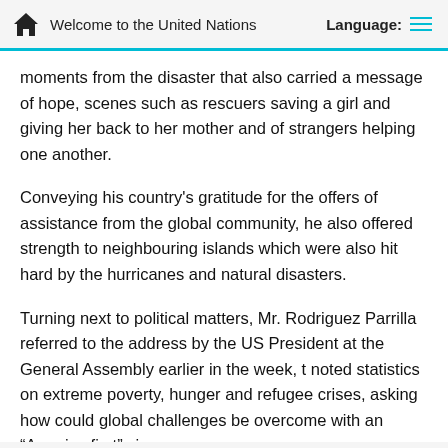Welcome to the United Nations  Language:
moments from the disaster that also carried a message of hope, scenes such as rescuers saving a girl and giving her back to her mother and of strangers helping one another.
Conveying his country's gratitude for the offers of assistance from the global community, he also offered strength to neighbouring islands which were also hit hard by the hurricanes and natural disasters.
Turning next to political matters, Mr. Rodriguez Parrilla referred to the address by the US President at the General Assembly earlier in the week, t noted statistics on extreme poverty, hunger and refugee crises, asking how could global challenges be overcome with an “America first” view.
Calling the new Cuban policy of the US “a setback” in